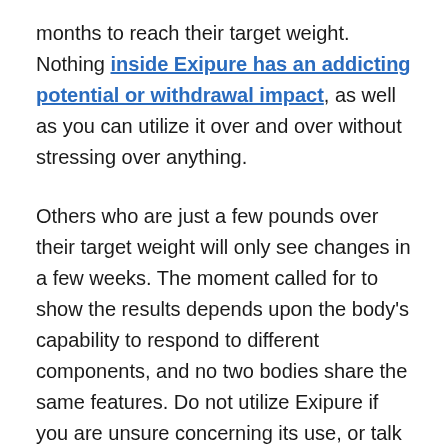months to reach their target weight. Nothing inside Exipure has an addicting potential or withdrawal impact, as well as you can utilize it over and over without stressing over anything.
Others who are just a few pounds over their target weight will only see changes in a few weeks. The moment called for to show the results depends upon the body's capability to respond to different components, and no two bodies share the same features. Do not utilize Exipure if you are unsure concerning its use, or talk with a physician to learn more regarding supplement safety.
Exipure Reviews – The